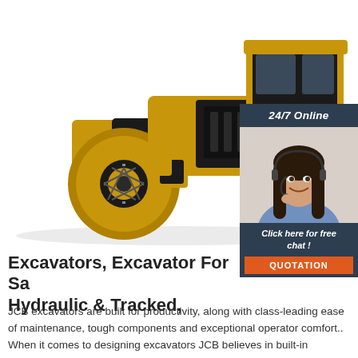[Figure (photo): Yellow JCB road roller / compactor machine on white background]
[Figure (photo): 24/7 Online chat widget with a smiling female customer service agent wearing a headset, with 'Click here for free chat!' text and orange QUOTATION button]
Excavators, Excavator For Sale, Hydraulic & Tracked,
JCB excavators are built for productivity, along with class-leading ease of maintenance, tough components and exceptional operator comfort.. When it comes to designing excavators JCB believes in built-in excellence. They approach their excavator machine in typical JCB